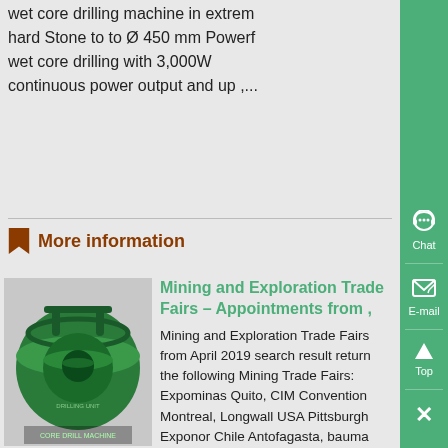wet core drilling machine in extremely hard Stone to to Ø 450 mm Powerf wet core drilling with 3,000W continuous power output and up ,...
More information
[Figure (photo): Green cylindrical mining drilling machine viewed from above, with circular frame and mechanical components]
Mining and Exploration Trade Fairs – Appointments from ,
Mining and Exploration Trade Fairs from April 2019 search result returns the following Mining Trade Fairs: Expominas Quito, CIM Convention Montreal, Longwall USA Pittsburgh, Exponor Chile Antofagasta, bauma CTT Russia Moscow, Ugol Rossii & Mining Novokuznetsk, Energa Sarajevo, Guangzhou International